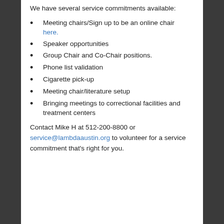We have several service commitments available:
Meeting chairs/Sign up to be an online chair here.
Speaker opportunities
Group Chair and Co-Chair positions.
Phone list validation
Cigarette pick-up
Meeting chair/literature setup
Bringing meetings to correctional facilities and treatment centers
Contact Mike H at 512-200-8800 or service@lambdaaustin.org to volunteer for a service commitment that’s right for you.